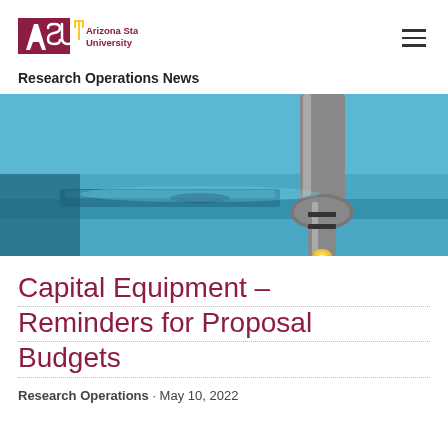[Figure (logo): Arizona State University logo with ASU text in maroon and gold, followed by 'Arizona State University' in maroon text]
Research Operations News
[Figure (photo): Close-up photo of a microscope objective lens over a blue microscope stage, with a bright golden light reflection visible]
Capital Equipment – Reminders for Proposal Budgets
Research Operations · May 10, 2022